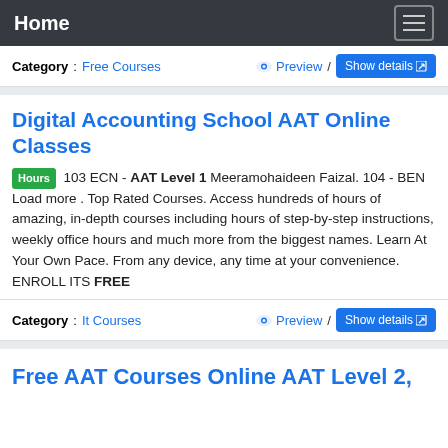Home
Category: Free Courses   Preview / Show details
Digital Accounting School AAT Online Classes
Hours 103 ECN - AAT Level 1 Meeramohaideen Faizal. 104 - BEN Load more . Top Rated Courses. Access hundreds of hours of amazing, in-depth courses including hours of step-by-step instructions, weekly office hours and much more from the biggest names. Learn At Your Own Pace. From any device, any time at your convenience. ENROLL ITS FREE
Category: It Courses   Preview / Show details
Free AAT Courses Online AAT Level 2,